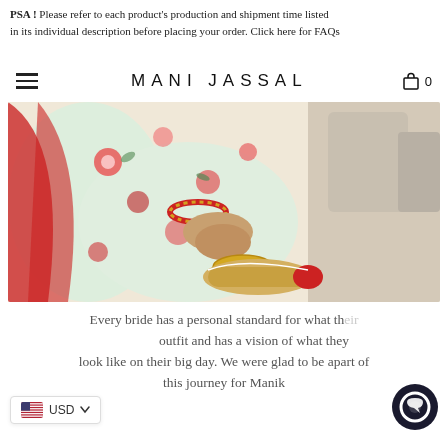PSA! Please refer to each product's production and shipment time listed in its individual description before placing your order. Click here for FAQs
MANI JASSAL
[Figure (photo): Close-up photo of a bride wearing a colorful floral lehenga with red dupatta and bangles, adjusting her golden embellished bridal shoes, sitting on a white surface]
Every bride has a personal standard for what their outfit and has a vision of what they look like on their big day. We were glad to be apart of this journey for Manik